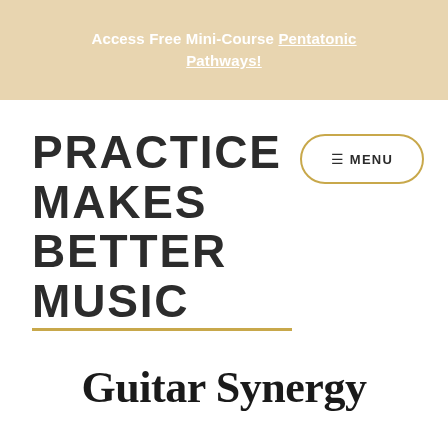Access Free Mini-Course Pentatonic Pathways!
PRACTICE MAKES BETTER MUSIC
≡ MENU
Guitar Synergy